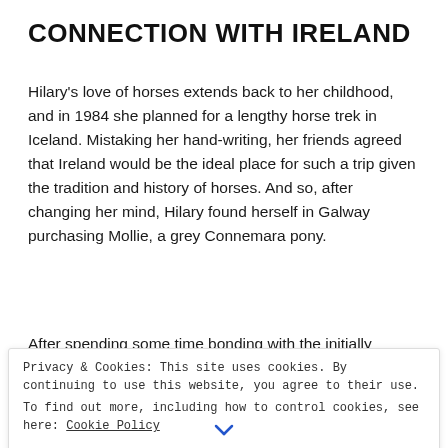CONNECTION WITH IRELAND
Hilary's love of horses extends back to her childhood, and in 1984 she planned for a lengthy horse trek in Iceland. Mistaking her hand-writing, her friends agreed that Ireland would be the ideal place for such a trip given the tradition and history of horses. And so, after changing her mind, Hilary found herself in Galway purchasing Mollie, a grey Connemara pony.
After spending some time bonding with the initially sulky horse in Connemara, they headed south from
Privacy & Cookies: This site uses cookies. By continuing to use this website, you agree to their use.
To find out more, including how to control cookies, see here: Cookie Policy
Close and accept